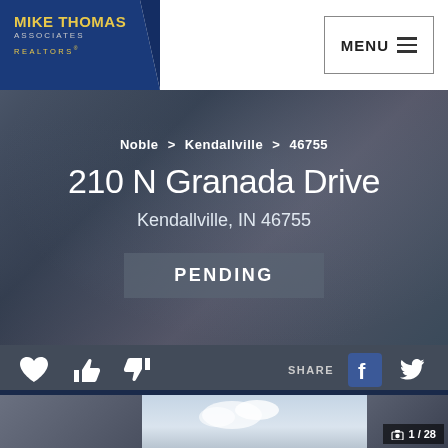[Figure (logo): Mike Thomas Associates Realtors logo on blue angled background]
MENU ≡
Noble > Kendallville > 46755
210 N Granada Drive
Kendallville, IN 46755
PENDING
[Figure (photo): Social action icons: heart, thumbs up, thumbs down, SHARE label, Facebook icon, Twitter icon]
[Figure (photo): Photo strip showing property image, partially cut off. Counter shows 1 / 28]